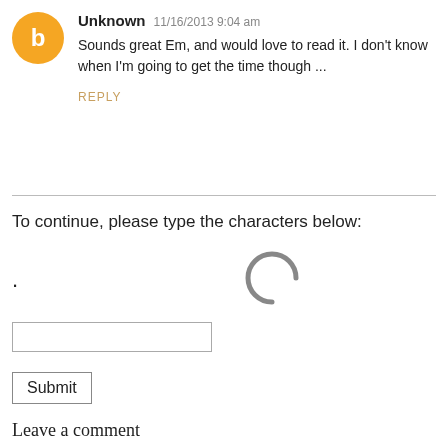Unknown  11/16/2013 9:04 am
Sounds great Em, and would love to read it. I don't know when I'm going to get the time though ...
REPLY
To continue, please type the characters below:
[Figure (other): Loading spinner (partial circle arc) indicating CAPTCHA image is loading]
.
Submit
Leave a comment